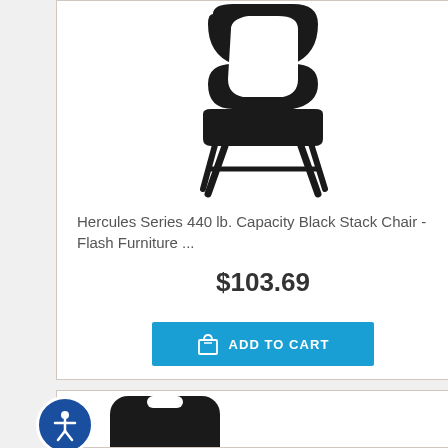[Figure (photo): Black stack chair with open back and black metal legs, product photo on white background]
Hercules Series 440 lb. Capacity Black Stack Chair - Flash Furniture ...
$103.69
ADD TO CART
[Figure (photo): Partial view of a black stacking chair back, bottom product card]